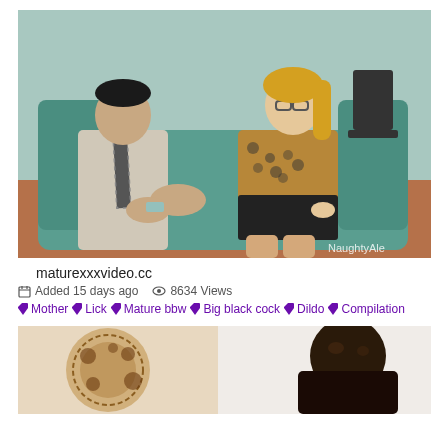[Figure (photo): Two people sitting on a teal/green couch in an office-like setting. A young man in a white dress shirt and patterned tie with tattoos on his arm gestures with his hands. A blonde woman wearing glasses and a leopard print top sits beside him, looking down.]
maturexxxvideo.cc
Added 15 days ago   8634 Views
Mother  Lick  Mature bbw  Big black cock  Dildo  Compilation
[Figure (photo): Partial thumbnail showing two people, one with a decorative item on the left and a bald dark-skinned man on the right.]